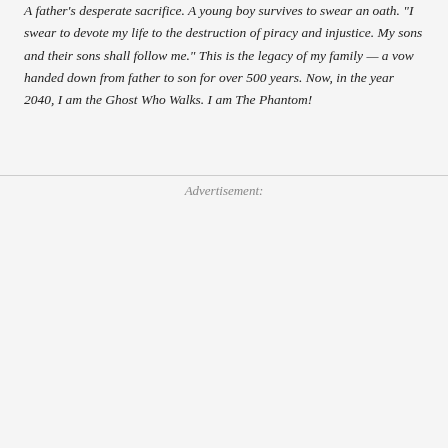A father's desperate sacrifice. A young boy survives to swear an oath. "I swear to devote my life to the destruction of piracy and injustice. My sons and their sons shall follow me." This is the legacy of my family — a vow handed down from father to son for over 500 years. Now, in the year 2040, I am the Ghost Who Walks. I am The Phantom!
Advertisement: